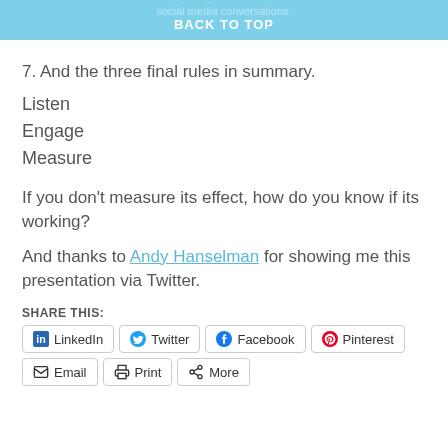social media conversations. BACK TO TOP
7. And the three final rules in summary.
Listen
Engage
Measure
If you don’t measure its effect, how do you know if its working?
And thanks to Andy Hanselman for showing me this presentation via Twitter.
SHARE THIS:
LinkedIn Twitter Facebook Pinterest Email Print More